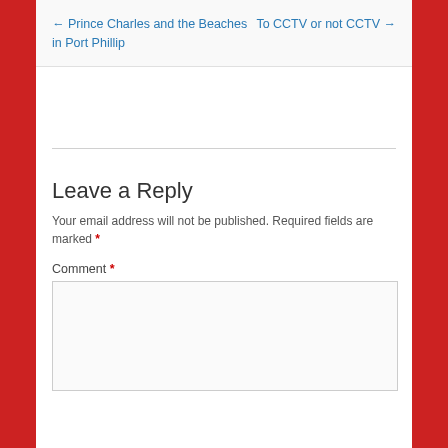← Prince Charles and the Beaches in Port Phillip
To CCTV or not CCTV →
Leave a Reply
Your email address will not be published. Required fields are marked *
Comment *